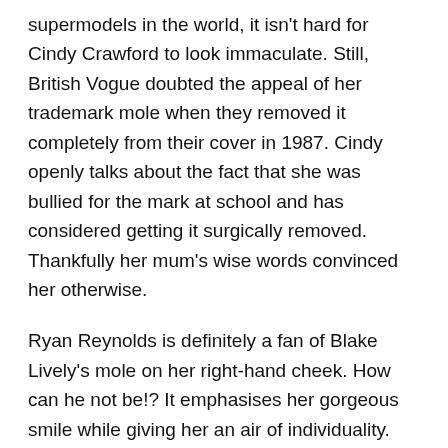supermodels in the world, it isn't hard for Cindy Crawford to look immaculate. Still, British Vogue doubted the appeal of her trademark mole when they removed it completely from their cover in 1987. Cindy openly talks about the fact that she was bullied for the mark at school and has considered getting it surgically removed. Thankfully her mum's wise words convinced her otherwise.
Ryan Reynolds is definitely a fan of Blake Lively's mole on her right-hand cheek. How can he not be!? It emphasises her gorgeous smile while giving her an air of individuality. Her gorgeous blonde waves wouldn't like the same without it.
Embrace your birth mark
Although the fashion and beauty industry can sometimes present a somewhat unattainable perfection as the ideal,